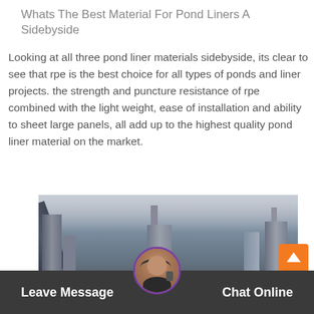Whats The Best Material For Pond Liners A Sidebyside
Looking at all three pond liner materials sidebyside, its clear to see that rpe is the best choice for all types of ponds and liner projects. the strength and puncture resistance of rpe combined with the light weight, ease of installation and ability to sheet large panels, all add up to the highest quality pond liner material on the market.
[Figure (photo): Industrial factory or cement plant with tall towers, scaffolding, and conveyor structures against an overcast sky]
Leave Message
Chat Online